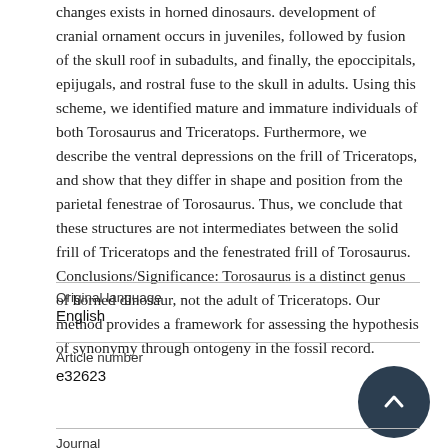changes exists in horned dinosaurs. development of cranial ornament occurs in juveniles, followed by fusion of the skull roof in subadults, and finally, the epoccipitals, epijugals, and rostral fuse to the skull in adults. Using this scheme, we identified mature and immature individuals of both Torosaurus and Triceratops. Furthermore, we describe the ventral depressions on the frill of Triceratops, and show that they differ in shape and position from the parietal fenestrae of Torosaurus. Thus, we conclude that these structures are not intermediates between the solid frill of Triceratops and the fenestrated frill of Torosaurus. Conclusions/Significance: Torosaurus is a distinct genus of horned dinosaur, not the adult of Triceratops. Our method provides a framework for assessing the hypothesis of synonymy through ontogeny in the fossil record.
| Field | Value |
| --- | --- |
| Original language | English |
| Article number | e32623 |
| Journal |  |